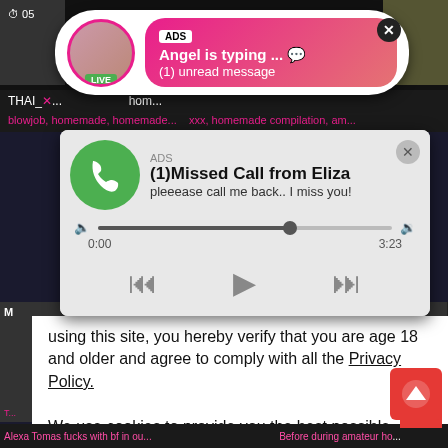[Figure (screenshot): Adult website screenshot with popup ads overlay showing chat notification and missed call audio player]
ADS
Angel is typing ... 💬
(1) unread message
THAI_... hom...
blowjob, homemade, homemade...   xxx, homemade compilation, am...
ADS
(1)Missed Call from Eliza
pleeease call me back.. I miss you!
0:00   3:23
using this site, you hereby verify that you are age 18 and older and agree to comply with all the Privacy Policy.
We use cookies to provide you the best possible experience on our website and to monitor website traffic. Cookies Policy.
Alexa Tomas fucks with bf in ou...   Before during amateur ho...